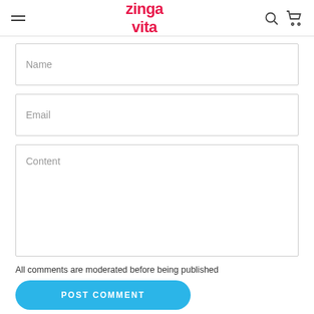zinga vita
Name
Email
Content
All comments are moderated before being published
POST COMMENT